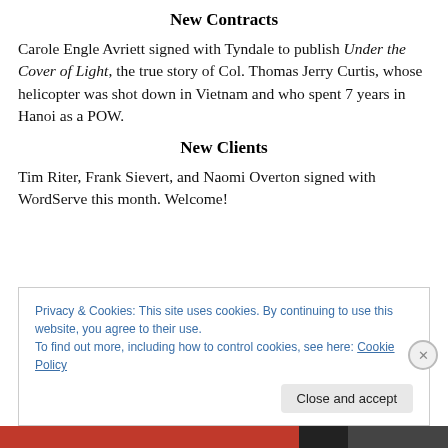New Contracts
Carole Engle Avriett signed with Tyndale to publish Under the Cover of Light, the true story of Col. Thomas Jerry Curtis, whose helicopter was shot down in Vietnam and who spent 7 years in Hanoi as a POW.
New Clients
Tim Riter, Frank Sievert, and Naomi Overton signed with WordServe this month. Welcome!
Privacy & Cookies: This site uses cookies. By continuing to use this website, you agree to their use.
To find out more, including how to control cookies, see here: Cookie Policy